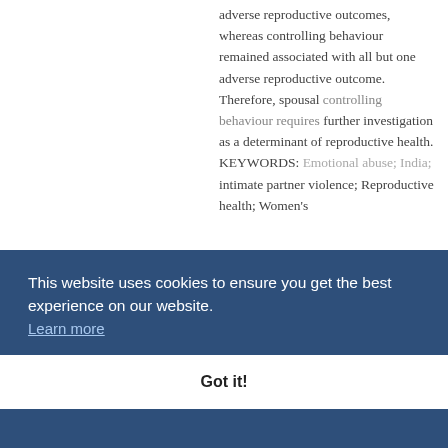adverse reproductive outcomes, whereas controlling behaviour remained associated with all but one adverse reproductive outcome. Therefore, spousal controlling behaviour requires further investigation as a determinant of reproductive health. KEYWORDS: Emotional abuse; India; intimate partner violence; Reproductive health; Women's
This website uses cookies to ensure you get the best experience on our website. Learn more
Got it!